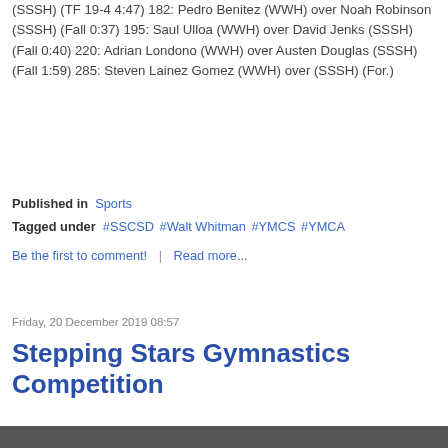(SSSH) (TF 19-4 4:47) 182: Pedro Benitez (WWH) over Noah Robinson (SSSH) (Fall 0:37) 195: Saul Ulloa (WWH) over David Jenks (SSSH) (Fall 0:40) 220: Adrian Londono (WWH) over Austen Douglas (SSSH) (Fall 1:59) 285: Steven Lainez Gomez (WWH) over (SSSH) (For.)
Published in Sports
Tagged under #SSCSD #Walt Whitman #YMCS #YMCA
Be the first to comment! | Read more...
Friday, 20 December 2019 08:57
Stepping Stars Gymnastics Competition
[Figure (photo): Photo strip at bottom of page, partially visible]